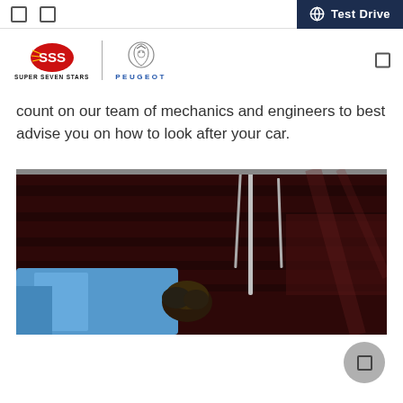Test Drive
[Figure (logo): Super Seven Stars and Peugeot logos side by side with a vertical divider]
count on our team of mechanics and engineers to best advise you on how to look after your car.
[Figure (photo): A mechanic in a blue shirt leaning over to inspect the underside of a dark red car hood]